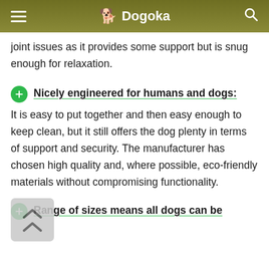Dogoka
joint issues as it provides some support but is snug enough for relaxation.
Nicely engineered for humans and dogs: It is easy to put together and then easy enough to keep clean, but it still offers the dog plenty in terms of support and security. The manufacturer has chosen high quality and, where possible, eco-friendly materials without compromising functionality.
Range of sizes means all dogs can be